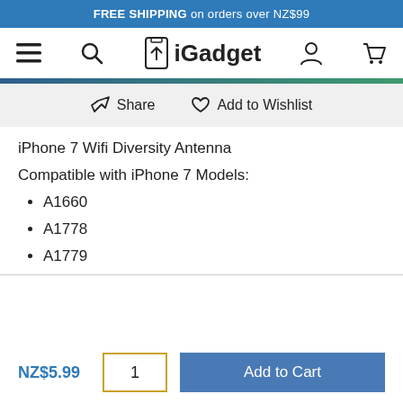FREE SHIPPING on orders over NZ$99
[Figure (logo): iGadget logo with hamburger menu, search, user, and cart icons]
Share   Add to Wishlist
iPhone 7 Wifi Diversity Antenna
Compatible with iPhone 7 Models:
A1660
A1778
A1779
NZ$5.99   1   Add to Cart